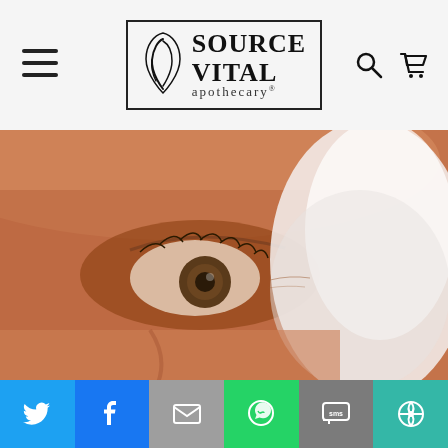[Figure (logo): Source Vital Apothecary logo in a bordered box with leaf graphic]
[Figure (photo): Close-up photo of a person's eye with a blurred white circular object (product jar lid) in the foreground]
Ok, this one is virtually impossible. Yes, you are going to have to touch your skin but for those who rest their
[Figure (infographic): Social sharing bar with Twitter, Facebook, Email, WhatsApp, SMS, and More sharing buttons]